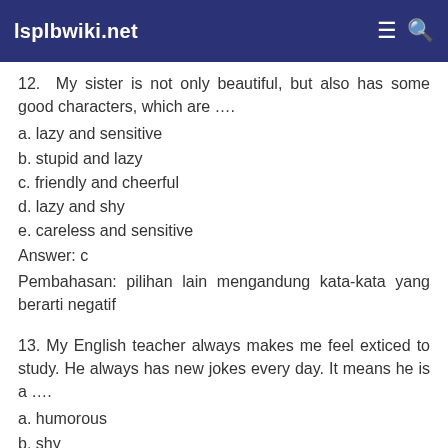lsplbwiki.net
12. My sister is not only beautiful, but also has some good characters, which are ….
a. lazy and sensitive
b. stupid and lazy
c. friendly and cheerful
d. lazy and shy
e. careless and sensitive
Answer: c
Pembahasan: pilihan lain mengandung kata-kata yang berarti negatif
13. My English teacher always makes me feel exticed to study. He always has new jokes every day. It means he is a ….
a. humorous
b. shy
c. diligent